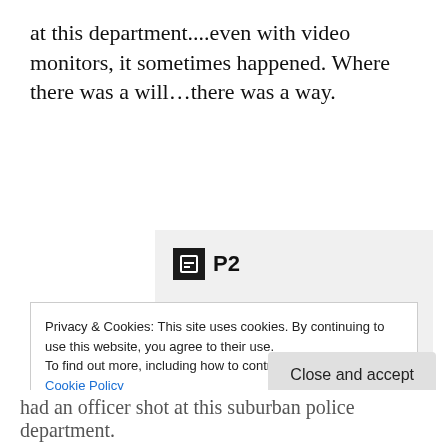at this department....even with video monitors, it sometimes happened. Where there was a will…there was a way.
[Figure (screenshot): P2 advertisement showing logo, headline 'Getting your team on the same page is easy. And free.' and user avatar images]
Privacy & Cookies: This site uses cookies. By continuing to use this website, you agree to their use.
To find out more, including how to control cookies, see here: Cookie Policy
had an officer shot at this suburban police department.